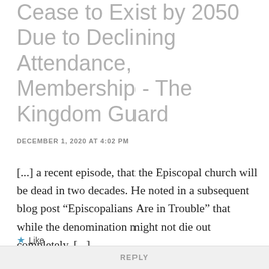Cease to Exist by 2050 Due to Declining Attendance, Membership - The Kingdom Guard
DECEMBER 1, 2020 AT 4:02 PM
[...] a recent episode, that the Episcopal church will be dead in two decades. He noted in a subsequent blog post “Episcopalians Are in Trouble” that while the denomination might not die out completely, [...]
★ Like
REPLY